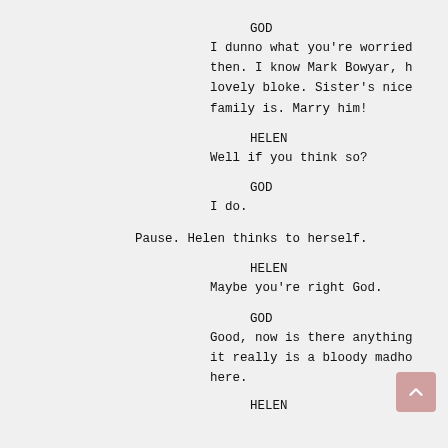GOD
I dunno what you're worried about then. I know Mark Bowyar, he's a lovely bloke. Sister's nice, family is. Marry him!
HELEN
Well if you think so?
GOD
I do.
Pause. Helen thinks to herself.
HELEN
Maybe you're right God.
GOD
Good, now is there anything it really is a bloody madho here.
HELEN